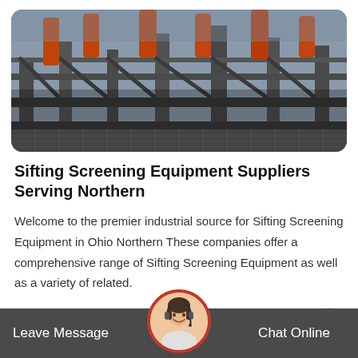[Figure (photo): Industrial sifting/screening equipment with metal framework, orange hydraulic components, and steel grating structure on a job site.]
Sifting Screening Equipment Suppliers Serving Northern
Welcome to the premier industrial source for Sifting Screening Equipment in Ohio Northern These companies offer a comprehensive range of Sifting Screening Equipment as well as a variety of related.
Get Price
Leave Message   Chat Online